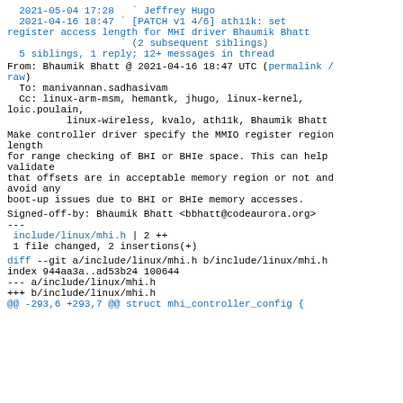2021-05-04 17:28   ` Jeffrey Hugo
  2021-04-16 18:47 ` [PATCH v1 4/6] ath11k: set register access length for MHI driver Bhaumik Bhatt
                   ` (2 subsequent siblings)
  5 siblings, 1 reply; 12+ messages in thread
From: Bhaumik Bhatt @ 2021-04-16 18:47 UTC (permalink / raw)
  To: manivannan.sadhasivam
  Cc: linux-arm-msm, hemantk, jhugo, linux-kernel, loic.poulain,
          linux-wireless, kvalo, ath11k, Bhaumik Bhatt
Make controller driver specify the MMIO register region length
for range checking of BHI or BHIe space. This can help validate
that offsets are in acceptable memory region or not and avoid any
boot-up issues due to BHI or BHIe memory accesses.
Signed-off-by: Bhaumik Bhatt <bbhatt@codeaurora.org>
---
 include/linux/mhi.h | 2 ++
 1 file changed, 2 insertions(+)
diff --git a/include/linux/mhi.h b/include/linux/mhi.h
index 944aa3a..ad53b24 100644
--- a/include/linux/mhi.h
+++ b/include/linux/mhi.h
@@ -293,6 +293,7 @@ struct mhi_controller_config {